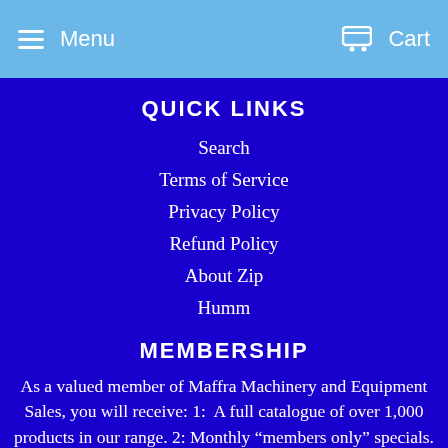Menu   Cart
QUICK LINKS
Search
Terms of Service
Privacy Policy
Refund Policy
About Zip
Humm
MEMBERSHIP
As a valued member of Maffra Machinery and Equipment Sales, you will receive: 1:  A full catalogue of over 1,000 products in our range. 2: Monthly "members only" specials. 3: Advance notice of any new products due to be released 4: Exclusive notification